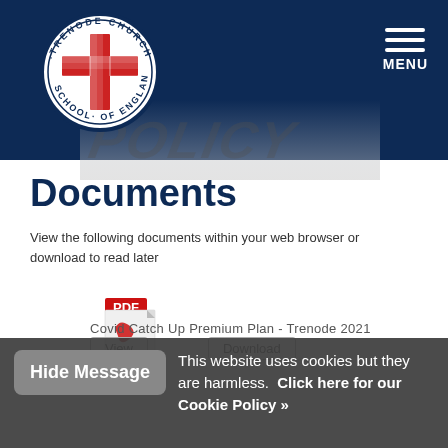[Figure (logo): Trenode Church of England School circular logo with red cross on white background, blue border with school name text around circumference]
MENU
Documents
View the following documents within your web browser or download to read later
[Figure (other): Adobe PDF file icon with red PDF label and Adobe text below]
Covid Catch Up Premium Plan - Trenode 2021
View   Download
Hide Message   This website uses cookies but they are harmless.  Click here for our Cookie Policy »